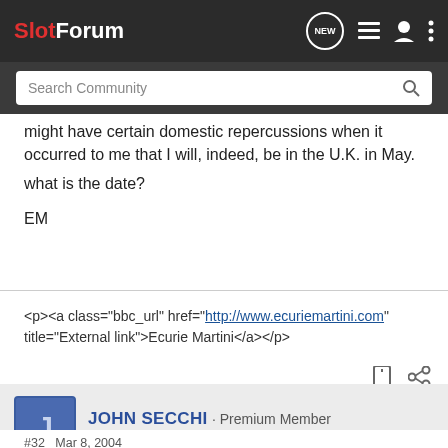SlotForum
might have certain domestic repercussions when it occurred to me that I will, indeed, be in the U.K. in May.
what is the date?
EM
<p><a class="bbc_url" href="http://www.ecuriemartini.com" title="External link">Ecurie Martini</a></p>
JOHN SECCHI · Premium Member
Joined Sep 25, 2003 · 2,143 Posts
#32   Mar 8, 2004